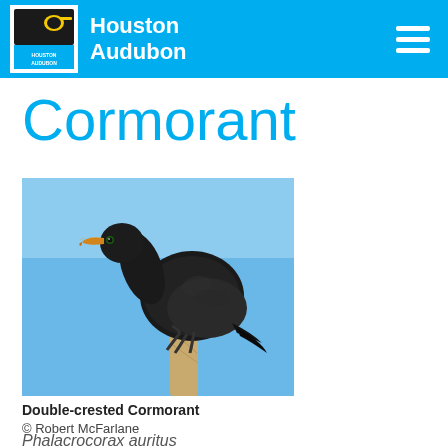Houston Audubon
Cormorant
[Figure (photo): Double-crested Cormorant perched on a wooden post against a blue sky, facing left, showing dark plumage and yellow-orange bill.]
Double-crested Cormorant
© Robert McFarlane
Phalacrocorax auritus